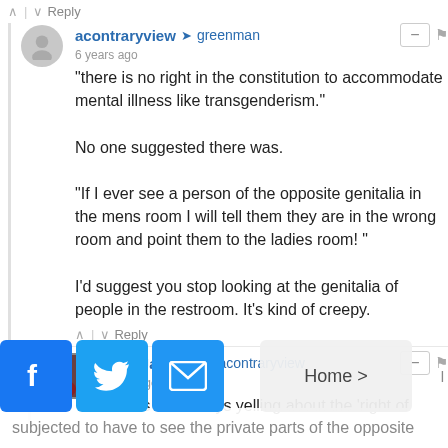↑ | ↓ Reply
acontraryview → greenman
6 years ago
"there is no right in the constitution to accommodate mental illness like transgenderism."

No one suggested there was.

"If I ever see a person of the opposite genitalia in the mens room I will tell them they are in the wrong room and point them to the ladies room! "

I'd suggest you stop looking at the genitalia of people in the restroom. It's kind of creepy.
↑ | ↓ Reply
Angel Jabbins → acontraryview
6 years ago edited
You libs are always yelling about the 'right of
subjected to have to see the private parts of the opposite